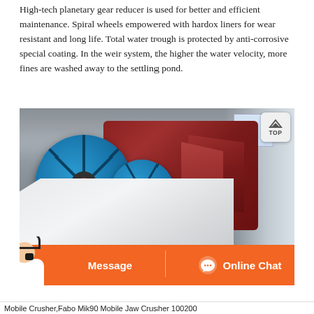High-tech planetary gear reducer is used for better and efficient maintenance. Spiral wheels empowered with hardox liners for wear resistant and long life. Total water trough is protected by anti-corrosive special coating. In the weir system, the higher the water velocity, more fines are washed away to the settling pond.
[Figure (photo): Industrial sand washing machine with large blue spiral wheels and dark red drum housing inside a factory/warehouse. White trough/hopper in foreground. A customer service chat bar with orange background is overlaid at the bottom with a person image, 'Message' and 'Online Chat' buttons.]
Mobile Crusher,Fabo Mik90 Mobile Jaw Crusher 100200